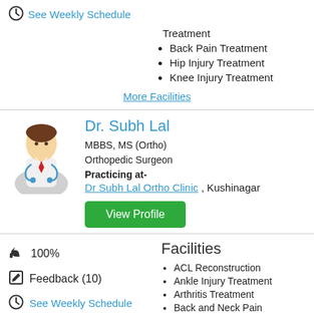See Weekly Schedule
Back Pain Treatment
Hip Injury Treatment
Knee Injury Treatment
More Facilities
Dr. Subh Lal
MBBS, MS (Ortho)
Orthopedic Surgeon
Practicing at-
Dr Subh Lal Ortho Clinic , Kushinagar
View Profile
100%
Feedback (10)
See Weekly Schedule
Facilities
ACL Reconstruction
Ankle Injury Treatment
Arthritis Treatment
Back and Neck Pain Treatment
Deformities Correction